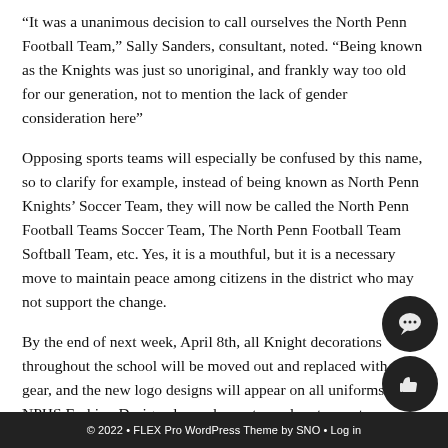“It was a unanimous decision to call ourselves the North Penn Football Team,” Sally Sanders, consultant, noted. “Being known as the Knights was just so unoriginal, and frankly way too old for our generation, not to mention the lack of gender consideration here”
Opposing sports teams will especially be confused by this name, so to clarify for example, instead of being known as North Penn Knights’ Soccer Team, they will now be called the North Penn Football Teams Soccer Team, The North Penn Football Team Softball Team, etc. Yes, it is a mouthful, but it is a necessary move to maintain peace among citizens in the district who may not support the change.
By the end of next week, April 8th, all Knight decorations throughout the school will be moved out and replaced with new gear, and the new logo designs will appear on all uniforms. The NPHS Fashion Design classes have stepped up to create new uniforms that will be available next week.
© 2022 • FLEX Pro WordPress Theme by SNO • Log in